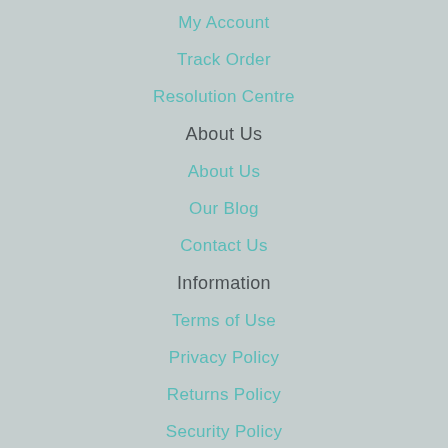My Account
Track Order
Resolution Centre
About Us
About Us
Our Blog
Contact Us
Information
Terms of Use
Privacy Policy
Returns Policy
Security Policy
Delivery